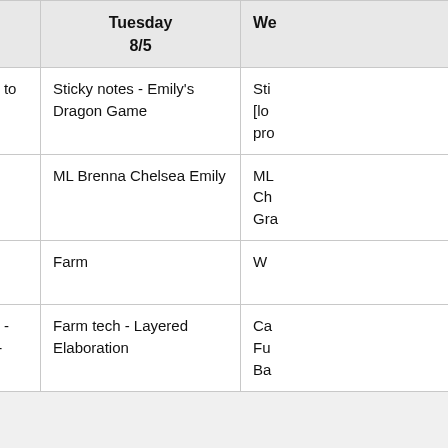|  | Monday 8/4 | Tuesday 8/5 | We[dnesday] |
| --- | --- | --- | --- |
| 10:00 AM to noon activity | Searching for places to explore | Sticky notes - Emily's Dragon Game | Sti[cky notes - lo[ng] pro[ject]] |
| AM adults | ML Brenna Chelsea Grace Emily | ML Brenna Chelsea Emily | ML Ch Gra[ce] |
| Scavenger Hunt / Games Leader | M | Farm | W |
| 2:00 to 4:00 activity | National Geographic - Exploring Explorers - | Farm tech - Layered Elaboration | Ca Fu Ba |